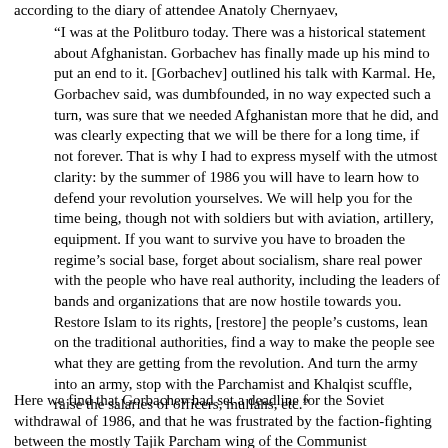according to the diary of attendee Anatoly Chernyaev,
“I was at the Politburo today. There was a historical statement about Afghanistan. Gorbachev has finally made up his mind to put an end to it. [Gorbachev] outlined his talk with Karmal. He, Gorbachev said, was dumbfounded, in no way expected such a turn, was sure that we needed Afghanistan more that he did, and was clearly expecting that we will be there for a long time, if not forever. That is why I had to express myself with the utmost clarity: by the summer of 1986 you will have to learn how to defend your revolution yourselves. We will help you for the time being, though not with soldiers but with aviation, artillery, equipment. If you want to survive you have to broaden the regime’s social base, forget about socialism, share real power with the people who have real authority, including the leaders of bands and organizations that are now hostile towards you. Restore Islam to its rights, [restore] the people’s customs, lean on the traditional authorities, find a way to make the people see what they are getting from the revolution. And turn the army into an army, stop with the Parchamist and Khalqist scuffle, raise the salaries of officers, mullahs, etc.”
Here we find that Gorbachev had set a deadline for the Soviet withdrawal of 1986, and that he was frustrated by the faction-fighting between the mostly Tajik Parcham wing of the Communist